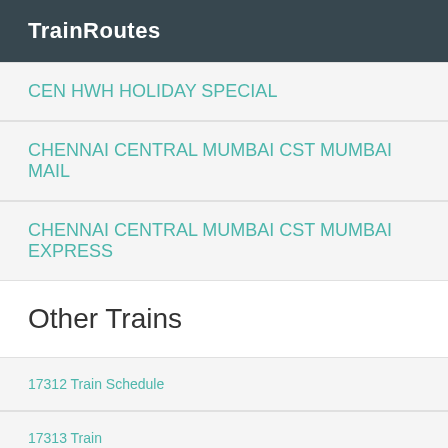TrainRoutes
CEN HWH HOLIDAY SPECIAL
CHENNAI CENTRAL MUMBAI CST MUMBAI MAIL
CHENNAI CENTRAL MUMBAI CST MUMBAI EXPRESS
Other Trains
17312 Train Schedule
17313 Train
17314 Train Time Table
17315 Coach Position
17316 Train Route
Hubballi Mumbai ltt Express Via Belagavi Train Route